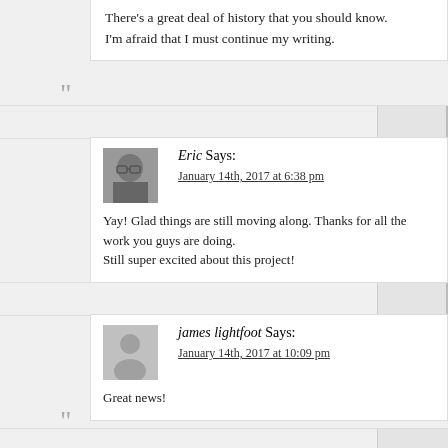There’s a great deal of history that you should know.
I’m afraid that I must continue my writing.
Eric Says:
January 14th, 2017 at 6:38 pm
Yay! Glad things are still moving along. Thanks for all the work you guys are doing.
Still super excited about this project!
james lightfoot Says:
January 14th, 2017 at 10:09 pm
Great news!